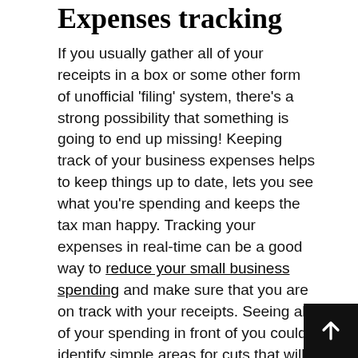Expenses tracking
If you usually gather all of your receipts in a box or some other form of unofficial ‘filing’ system, there’s a strong possibility that something is going to end up missing! Keeping track of your business expenses helps to keep things up to date, lets you see what you’re spending and keeps the tax man happy. Tracking your expenses in real-time can be a good way to reduce your small business spending and make sure that you are on track with your receipts. Seeing all of your spending in front of you could identify simple areas for cuts that will help your business run more efficiently.
Choosing the right financial tools for your business can take the stress out of business accounting and help free up your time to deal with more important matters. With more and more tools becoming available all the time, worth keeping an eye on finance and business news